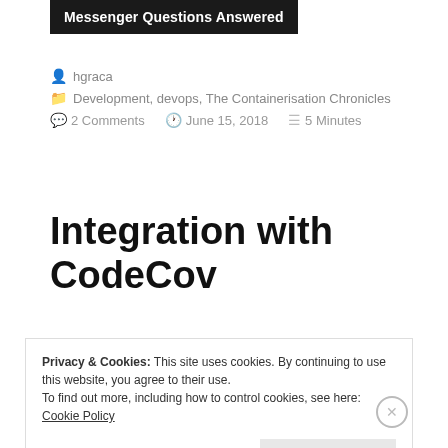Messenger Questions Answered
hgraca
Development, devops, The Containerisation Chronicles
2 Comments   June 15, 2018   5 Minutes
Integration with CodeCov
Privacy & Cookies: This site uses cookies. By continuing to use this website, you agree to their use.
To find out more, including how to control cookies, see here: Cookie Policy
Close and accept